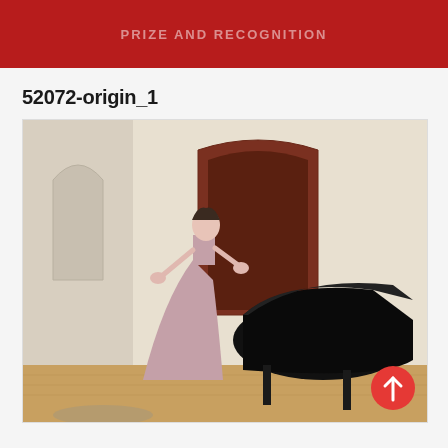PRIZE AND RECOGNITION
52072-origin_1
[Figure (photo): A woman in a pink/mauve evening gown singing or performing on a concert hall stage, with a grand piano behind her and an arched wooden door in the background. The hall has white walls and a wooden floor.]